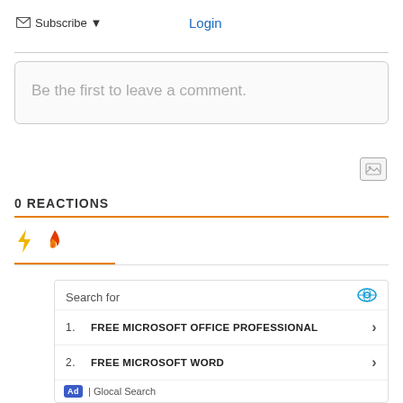Subscribe ▼   Login
Be the first to leave a comment.
0 REACTIONS
[Figure (illustration): Reaction icons: lightning bolt (yellow) and fire (red-orange)]
[Figure (infographic): Ad box: Search for FREE MICROSOFT OFFICE PROFESSIONAL, FREE MICROSOFT WORD. Ad | Glocal Search]